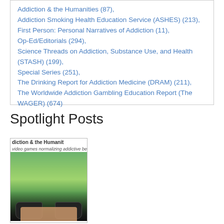Addiction & the Humanities (87),
Addiction Smoking Health Education Service (ASHES) (213),
First Person: Personal Narratives of Addiction (11),
Op-Ed/Editorials (294),
Science Threads on Addiction, Substance Use, and Health (STASH) (199),
Special Series (251),
The Drinking Report for Addiction Medicine (DRAM) (211),
The Worldwide Addiction Gambling Education Report (The WAGER) (674)
Spotlight Posts
[Figure (photo): Photo thumbnail showing 'diction & the Humanit' header text, subtitle 'video games normalizing addictive behavi', and an image of hands holding a video game controller with a soccer game on screen]